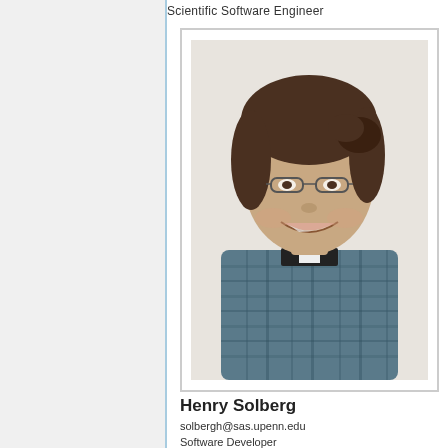Scientific Software Engineer
[Figure (photo): Portrait photo of Henry Solberg, a young man with long brown hair pulled back, wearing glasses and a blue plaid shirt, smiling against a light background.]
Henry Solberg
solbergh@sas.upenn.edu
Software Developer